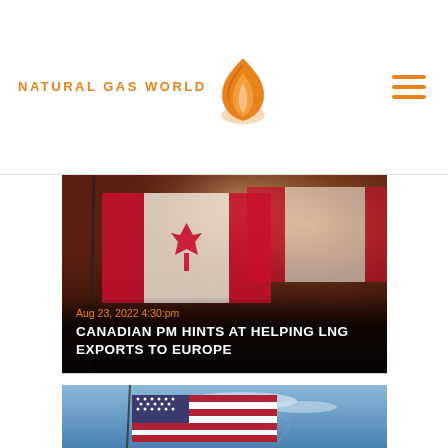NATURAL GAS WORLD
[Figure (photo): Canadian flag waving, dark reddish background, article card with date and headline overlay]
Aug 23, 2022 4:30:pm
CANADIAN PM HINTS AT HELPING LNG EXPORTS TO EUROPE
[Figure (photo): American flag waving against a blue sky background, second article card]